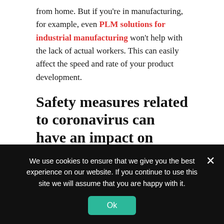from home. But if you're in manufacturing, for example, even PLM solutions for industrial manufacturing won't help with the lack of actual workers. This can easily affect the speed and rate of your product development.
Safety measures related to coronavirus can have an impact on product development
The coronavirus pandemic has caused many countries to implement strict and drastic measures. These include closing down borders,
We use cookies to ensure that we give you the best experience on our website. If you continue to use this site we will assume that you are happy with it.